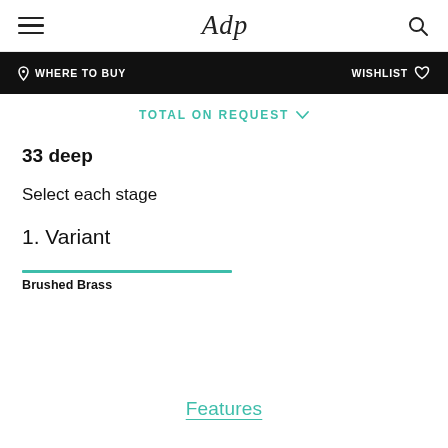Adp | WHERE TO BUY | WISHLIST
TOTAL ON REQUEST
33 deep
Select each stage
1. Variant
Brushed Brass
Features